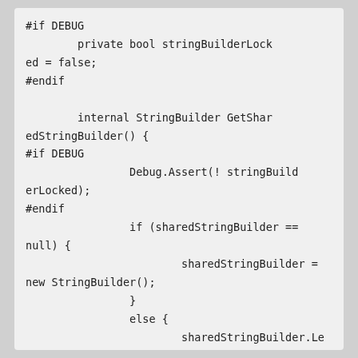#if DEBUG
        private bool stringBuilderLocked = false;
#endif

        internal StringBuilder GetSharedStringBuilder() {
#if DEBUG
                Debug.Assert(! stringBuilderLocked);
#endif
                if (sharedStringBuilder == null) {
                        sharedStringBuilder = new StringBuilder();
                }
                else {
                        sharedStringBuilder.Length = 0;
                }
#if DEBUG
                stringBuilderLocked = true;
e;
#endif